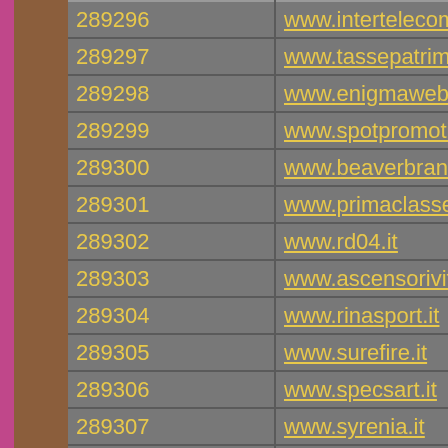| ID | URL |
| --- | --- |
| 289296 | www.intertelecomholding.it |
| 289297 | www.tassepatrimoniali.it |
| 289298 | www.enigmaweb.it |
| 289299 | www.spotpromotion.it |
| 289300 | www.beaverbrand.it |
| 289301 | www.primaclasseservice.it |
| 289302 | www.rd04.it |
| 289303 | www.ascensoriviterbo.it |
| 289304 | www.rinasport.it |
| 289305 | www.surefire.it |
| 289306 | www.specsart.it |
| 289307 | www.syrenia.it |
| 289308 | www.parkservice.it |
| 289309 | www.lastsuppermilano.it |
| 289310 | www.ellehotel.it |
| 289311 | www.aplaparma.it |